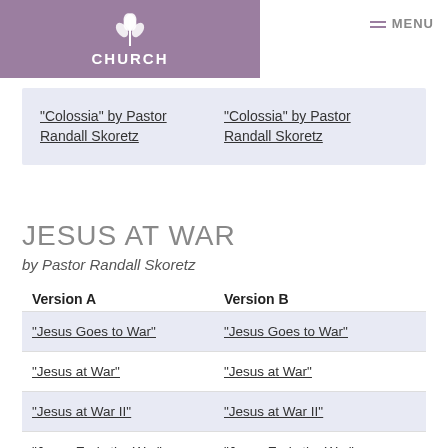[Figure (logo): Church logo with white wheat/plant icon on mauve/purple background and text CHURCH]
MENU
"Colossia" by Pastor Randall Skoretz   "Colossia" by Pastor Randall Skoretz
JESUS AT WAR
by Pastor Randall Skoretz
| Version A | Version B |
| --- | --- |
| "Jesus Goes to War" | "Jesus Goes to War" |
| "Jesus at War" | "Jesus at War" |
| "Jesus at War II" | "Jesus at War II" |
| "Jesus Ends the War" | "Jesus Ends the War" |